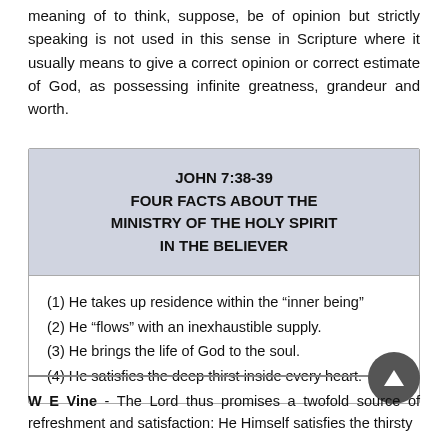meaning of to think, suppose, be of opinion but strictly speaking is not used in this sense in Scripture where it usually means to give a correct opinion or correct estimate of God, as possessing infinite greatness, grandeur and worth.
JOHN 7:38-39
FOUR FACTS ABOUT THE
MINISTRY OF THE HOLY SPIRIT
IN THE BELIEVER
(1) He takes up residence within the “inner being”
(2) He “flows” with an inexhaustible supply.
(3) He brings the life of God to the soul.
(4) He satisfies the deep thirst inside every heart.
W E Vine - The Lord thus promises a twofold source of refreshment and satisfaction: He Himself satisfies the thirsty